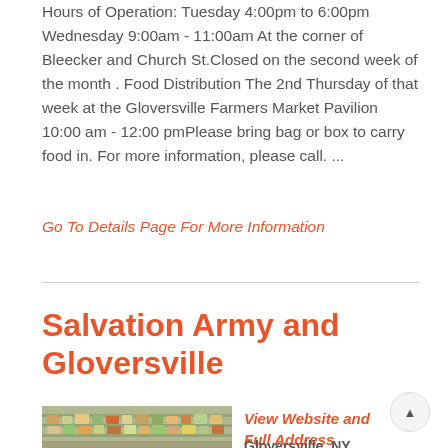Hours of Operation: Tuesday 4:00pm to 6:00pm Wednesday 9:00am - 11:00am At the corner of Bleecker and Church St.Closed on the second week of the month . Food Distribution The 2nd Thursday of that week at the Gloversville Farmers Market Pavilion 10:00 am - 12:00 pmPlease bring bag or box to carry food in. For more information, please call. ...
Go To Details Page For More Information
Salvation Army and Gloversville
[Figure (photo): Photo of a food pantry shelf with stocked shelves of food items]
View Website and Full Address
Gloversville, NY